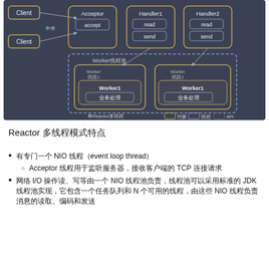[Figure (engineering-diagram): Reactor multi-thread architecture diagram showing Client connections, Acceptor with accept function, Handler1 and Handler2 with read/send operations, Worker thread pool with Worker1 nodes containing business processing units. Dark background with golden/blue rounded rectangles and dashed borders. Legend shows 对象(object), 线程(thread), API labels.]
Reactor 多线程模式特点
有专门一个 NIO 线程（event loop thread）
Acceptor 线程用于监听服务器，接收客户端的 TCP 连接请求
网络 I/O 操作读、写等由一个 NIO 线程池负责，线程池可以采用标准的 JDK 线程池实现，它包含一个任务队列和 N 个可用的线程，由这些 NIO 线程负责消息的读取、编码和发送